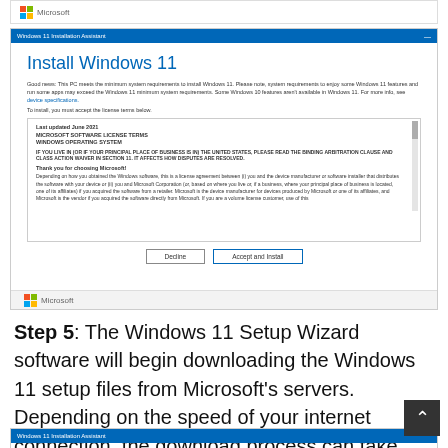[Figure (screenshot): Microsoft Windows 11 Installation Assistant dialog showing 'Install Windows 11' screen with license terms (MICROSOFT SOFTWARE LICENSE TERMS, WINDOWS OPERATING SYSTEM), Decline and Accept and Install buttons, and Microsoft logo at bottom.]
Step 5: The Windows 11 Setup Wizard software will begin downloading the Windows 11 setup files from Microsoft's servers. Depending on the speed of your internet connection, the download process can take from a few minutes to hours.
[Figure (screenshot): Partial view of Windows 11 Installation Assistant dialog (bottom of page)]